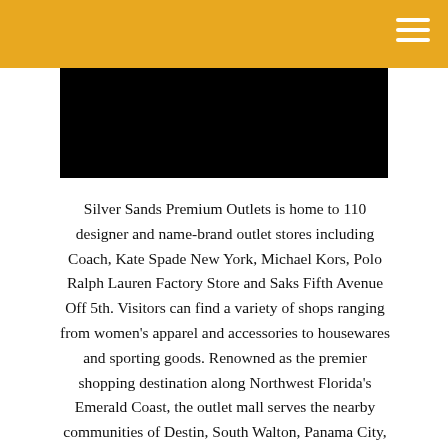[Figure (photo): Black rectangular hero image placeholder at top of page content area]
Silver Sands Premium Outlets is home to 110 designer and name-brand outlet stores including Coach, Kate Spade New York, Michael Kors, Polo Ralph Lauren Factory Store and Saks Fifth Avenue Off 5th. Visitors can find a variety of shops ranging from women's apparel and accessories to housewares and sporting goods. Renowned as the premier shopping destination along Northwest Florida's Emerald Coast, the outlet mall serves the nearby communities of Destin, South Walton, Panama City, and Pensacola. The outlet mall is conveniently located off US Highway 98, one mile west of Sandestin Golf and Beach Resort. This beautiful outdoor mall features covered sidewalks, lush landscaping, and a children's play area. There are also a variety of enticing dining options from sit down venues including